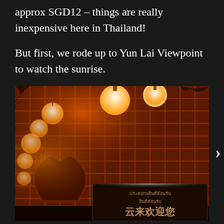approx SGD12 – things are really inexpensive here in Thailand!
But first, we rode up to Yun Lai Viewpoint to watch the sunrise.
[Figure (photo): Night photo of Yun Lai Viewpoint entrance with bamboo lattice wall structure, heart-shaped arch, and glowing orange paper lanterns hanging from above. A dark sign with Thai and Chinese text reading 云来欢迎您 is visible at the bottom right.]